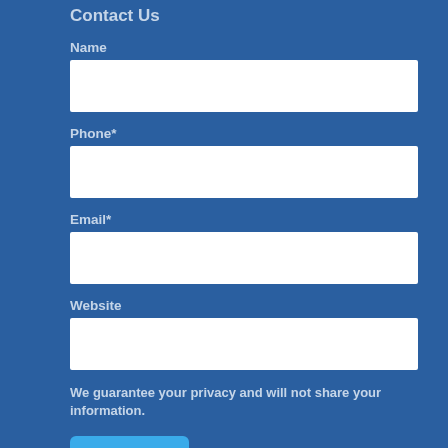Contact Us
Name
Phone*
Email*
Website
We guarantee your privacy and will not share your information.
Send